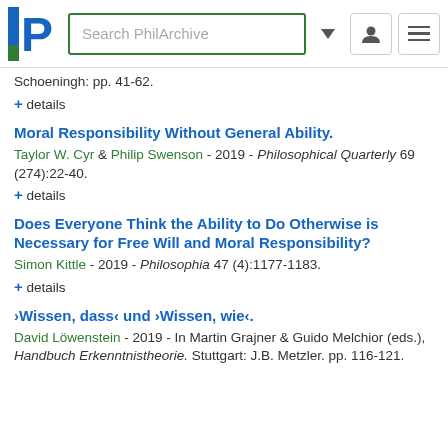Search PhilArchive
Schoeningh: pp. 41-62.
+ details
Moral Responsibility Without General Ability.
Taylor W. Cyr & Philip Swenson - 2019 - Philosophical Quarterly 69 (274):22-40.
+ details
Does Everyone Think the Ability to Do Otherwise is Necessary for Free Will and Moral Responsibility?
Simon Kittle - 2019 - Philosophia 47 (4):1177-1183.
+ details
›Wissen, dass‹ und ›Wissen, wie‹.
David Löwenstein - 2019 - In Martin Grajner & Guido Melchior (eds.), Handbuch Erkenntnistheorie. Stuttgart: J.B. Metzler. pp. 116-121.